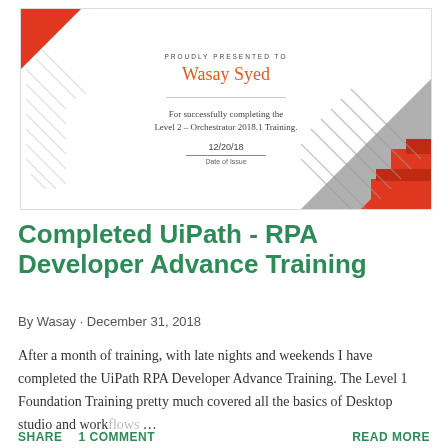[Figure (illustration): Certificate thumbnail showing 'PROUDLY PRESENTED TO Wasay Syed' for successfully completing Level 2 - Orchestrator 2018.1 Training, dated 12/20/18, with red geometric corner decorations]
Completed UiPath - RPA Developer Advance Training
By Wasay · December 31, 2018
After a month of training, with late nights and weekends I have completed the UiPath RPA Developer Advance Training. The Level 1 Foundation Training pretty much covered all the basics of Desktop studio and workflows ...
SHARE    1 COMMENT    READ MORE